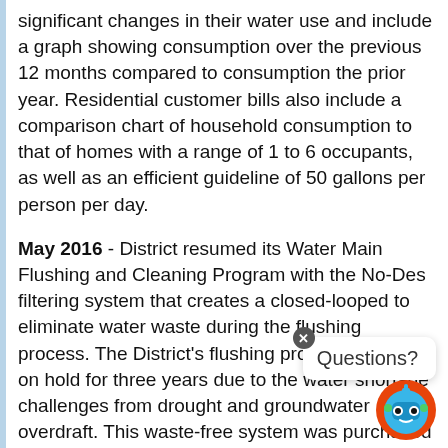The new bills make it easier for customers to identify significant changes in their water use and include a graph showing consumption over the previous 12 months compared to consumption the prior year. Residential customer bills also include a comparison chart of household consumption to that of homes with a range of 1 to 6 occupants, as well as an efficient guideline of 50 gallons per person per day.
May 2016 - District resumed its Water Main Flushing and Cleaning Program with the No-Des filtering system that creates a closed-looped to eliminate water waste during the flushing process. The District's flushing program had been on hold for three years due to the water shortage challenges from drought and groundwater overdraft. This waste-free system was purchased using developer fees collected from the Water Demand Offset Program.
July 2016 - Hit an all-time 12-month high of approximately 220,000 square feet of turf removal thanks to District customers participating in the turf